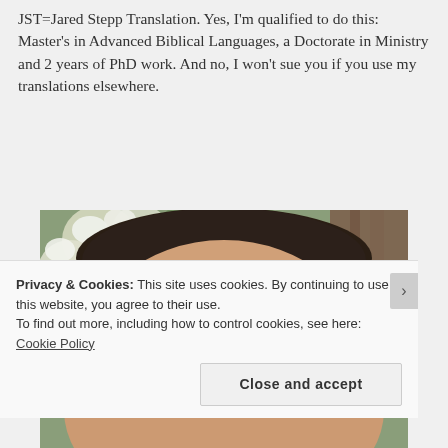JST=Jared Stepp Translation. Yes, I'm qualified to do this: Master's in Advanced Biblical Languages, a Doctorate in Ministry and 2 years of PhD work. And no, I won't sue you if you use my translations elsewhere.
[Figure (photo): Close-up photo of the top of a man's head showing a bald spot, with white flowers and brown wooden fence in the background.]
Privacy & Cookies: This site uses cookies. By continuing to use this website, you agree to their use.
To find out more, including how to control cookies, see here: Cookie Policy
Close and accept